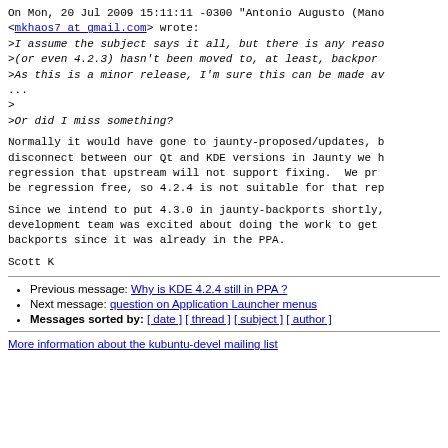On Mon, 20 Jul 2009 15:11:11 -0300 "Antonio Augusto (Mano <mkhaos7 at gmail.com> wrote:
>I assume the subject says it all, but there is any reason
>(or even 4.2.3) hasn't been moved to, at least, backports
>As this is a minor release, I'm sure this can be made available
...
>
>Or did I miss something?
Normally it would have gone to jaunty-proposed/updates, but disconnect between our Qt and KDE versions in Jaunty we had regression that upstream will not support fixing. We pro be regression free, so 4.2.4 is not suitable for that rep
Since we intend to put 4.3.0 in jaunty-backports shortly, development team was excited about doing the work to get backports since it was already in the PPA.
Scott K
Previous message: Why is KDE 4.2.4 still in PPA ?
Next message: question on Application Launcher menus
Messages sorted by: [ date ] [ thread ] [ subject ] [ author ]
More information about the kubuntu-devel mailing list